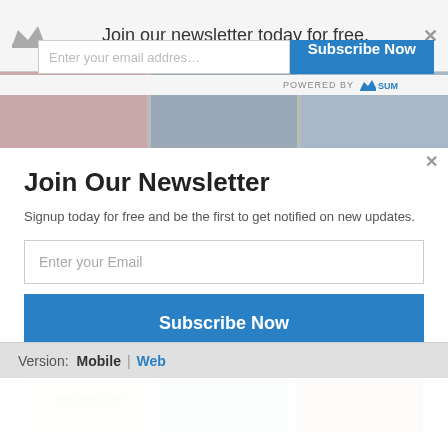Join our newsletter today for free.
POWERED BY SUMO
Join Our Newsletter
Signup today for free and be the first to get notified on new updates.
Enter your Email
Subscribe Now
[Figure (photo): Thumbnail images: Mother's Day card, people outdoors, wooden bridge]
Version:   Mobile  |  Web